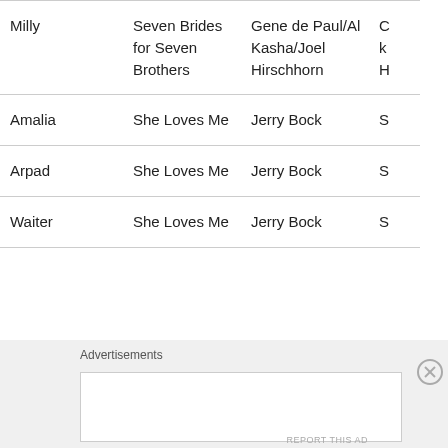| Character | Show | Composer | ... |
| --- | --- | --- | --- |
| Milly | Seven Brides for Seven Brothers | Gene de Paul/Al Kasha/Joel Hirschhorn | ... |
| Amalia | She Loves Me | Jerry Bock | ... |
| Arpad | She Loves Me | Jerry Bock | ... |
| Waiter | She Loves Me | Jerry Bock | ... |
Advertisements